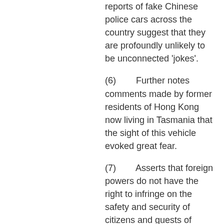reports of fake Chinese police cars across the country suggest that they are profoundly unlikely to be unconnected 'jokes'.
(6)        Further notes comments made by former residents of Hong Kong now living in Tasmania that the sight of this vehicle evoked great fear.
(7)        Asserts that foreign powers do not have the right to infringe on the safety and security of citizens and guests of Tasmania.
(8)        Will not tolerate the continued harassment